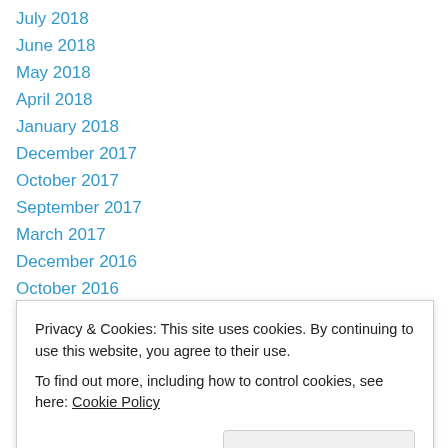July 2018
June 2018
May 2018
April 2018
January 2018
December 2017
October 2017
September 2017
March 2017
December 2016
October 2016
September 2016
August 2016
May 2016
October 2015
Privacy & Cookies: This site uses cookies. By continuing to use this website, you agree to their use. To find out more, including how to control cookies, see here: Cookie Policy